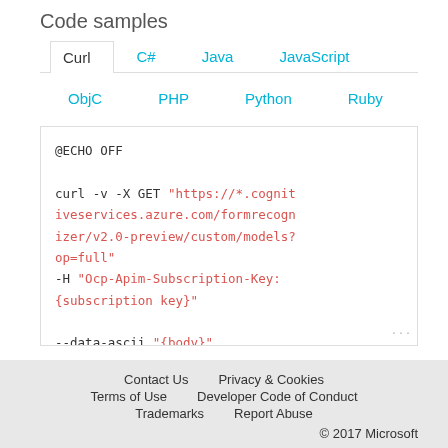Code samples
Curl  C#  Java  JavaScript  ObjC  PHP  Python  Ruby
@ECHO OFF

curl -v -X GET "https://*.cognitiveservices.azure.com/formrecognizer/v2.0-preview/custom/models?op=full"
-H "Ocp-Apim-Subscription-Key: {subscription key}"

--data-ascii "{body}"
Contact Us   Privacy & Cookies   Terms of Use   Developer Code of Conduct   Trademarks   Report Abuse   © 2017 Microsoft